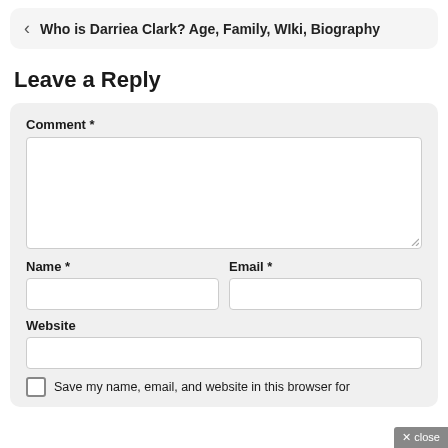Who is Darriea Clark? Age, Family, WIki, Biography
Leave a Reply
Comment *
Name *
Email *
Website
Save my name, email, and website in this browser for